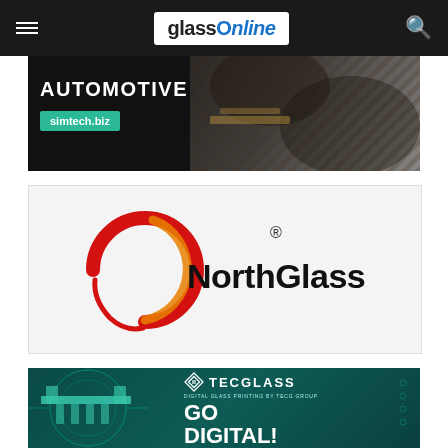glassOnline
[Figure (illustration): Automotive banner with dark background, leather/textile photo on right side, text 'AUTOMOTIVE' in white bold uppercase, green badge with 'simtech.biz']
[Figure (logo): NorthGlass logo on light grey background — red and orange circular arc swoosh on left, bold black text 'NorthGlass' with registered trademark symbol]
[Figure (illustration): Tecglass advertisement banner on dark teal background — Tecglass logo with diamond icon top right, 'GO DIGITAL!' in large white bold text, 'THE RIGHT DIGITAL SOLUTION FOR EVERY GLASS APPLICATION', 'www.tecglassdigital.com', machinery image on left, small circular product icons at bottom]